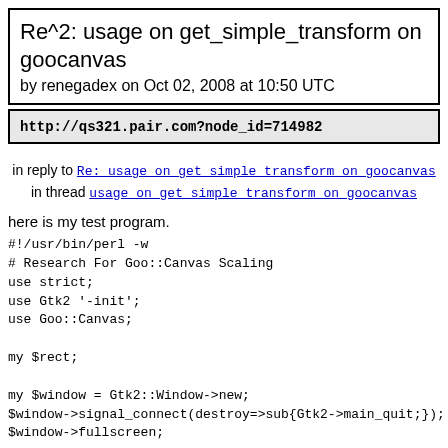Re^2: usage on get_simple_transform on goocanvas
by renegadex on Oct 02, 2008 at 10:50 UTC
http://qs321.pair.com?node_id=714982
in reply to Re: usage on get_simple_transform on goocanvas
in thread usage on get_simple_transform on goocanvas
here is my test program.
#!/usr/bin/perl -w
# Research For Goo::Canvas Scaling
use strict;
use Gtk2 '-init';
use Goo::Canvas;

my $rect;

my $window = Gtk2::Window->new;
$window->signal_connect(destroy=>sub{Gtk2->main_quit;});
$window->fullscreen;

my $canvas = Goo::Canvas->new;